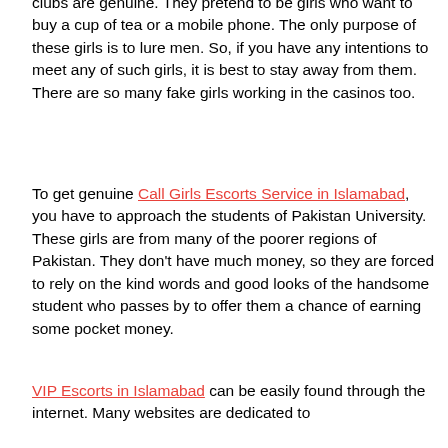clubs are genuine. They pretend to be girls who want to buy a cup of tea or a mobile phone. The only purpose of these girls is to lure men. So, if you have any intentions to meet any of such girls, it is best to stay away from them. There are so many fake girls working in the casinos too.
To get genuine Call Girls Escorts Service in Islamabad, you have to approach the students of Pakistan University. These girls are from many of the poorer regions of Pakistan. They don't have much money, so they are forced to rely on the kind words and good looks of the handsome student who passes by to offer them a chance of earning some pocket money.
VIP Escorts in Islamabad can be easily found through the internet. Many websites are dedicated to